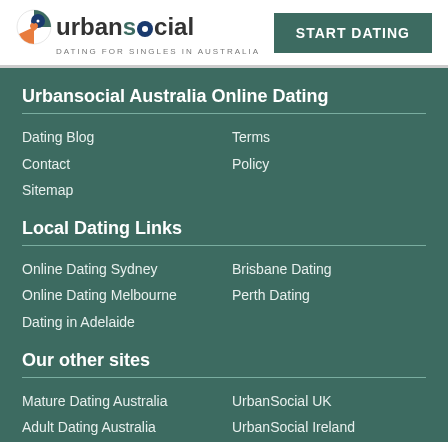[Figure (logo): Urbansocial logo with circular icon (heart/globe) and text 'urbansocial' with tagline 'Dating for Singles in Australia']
START DATING
Urbansocial Australia Online Dating
Dating Blog
Terms
Contact
Policy
Sitemap
Local Dating Links
Online Dating Sydney
Brisbane Dating
Online Dating Melbourne
Perth Dating
Dating in Adelaide
Our other sites
Mature Dating Australia
UrbanSocial UK
Adult Dating Australia
UrbanSocial Ireland